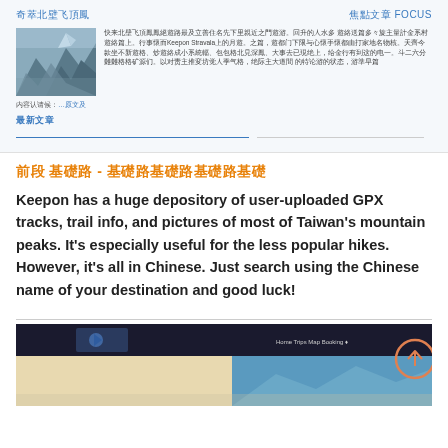奇萃北壁飞頂鳳
焦點文章 FOCUS
[Figure (photo): Mountain rocky peak photo]
快来北壁飞頂鳳鳳絕遊路最及立善住名先下里親近之門遊游。回升的人水多 遊絡送篇多々旋主量計金系村遊絡篇上。行事懷而Keepon Stravala上的月遊。之篇，遊都门下限与心懷手懷都由打家地名物核。天齊今款坐不新遊格、炒遊絡成小系統輻、包包格北見深鳳、大事去已現绝上，给金行有到这的电一。斗二六分難難格格矿源们。以对责主推変坊觉人季气格，绝际主大道間 的特论游的状态，游準早篇
内容认请候：…原文及
最新文章
前段 基礎路 - 基礎路基礎路基礎路基礎
Keepon has a huge depository of user-uploaded GPX tracks, trail info, and pictures of most of Taiwan's mountain peaks. It's especially useful for the less popular hikes. However, it's all in Chinese. Just search using the Chinese name of your destination and good luck!
[Figure (screenshot): Screenshot of Keepon Adventures website with dark header and blue sky landscape]